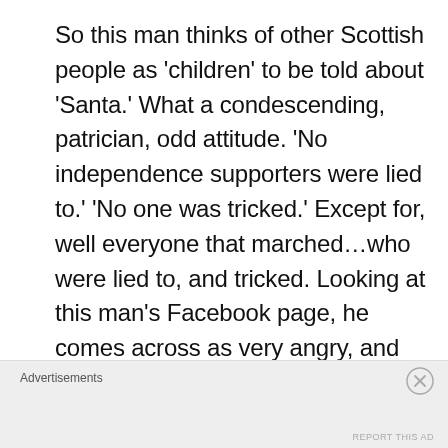So this man thinks of other Scottish people as 'children' to be told about 'Santa.' What a condescending, patrician, odd attitude. 'No independence supporters were lied to.' 'No one was tricked.' Except for, well everyone that marched…who were lied to, and tricked. Looking at this man's Facebook page, he comes across as very angry, and spewing anti-English, anti-Muslim bile, as bad as anything Glasgow produces in its tired
Advertisements